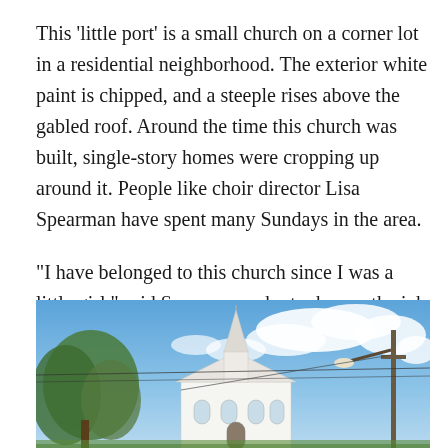This 'little port' is a small church on a corner lot in a residential neighborhood. The exterior white paint is chipped, and a steeple rises above the gabled roof. Around the time this church was built, single-story homes were cropping up around it. People like choir director Lisa Spearman have spent many Sundays in the area.
"I have belonged to this church since I was a little girl," said Spearman, who took over the job of choir director from her mother. "Maybe four years old."
[Figure (photo): Photograph of a small white church with a steeple, viewed from below against a blue sky with clouds. Trees are visible on the left side and utility poles/wires cross in front of the church.]